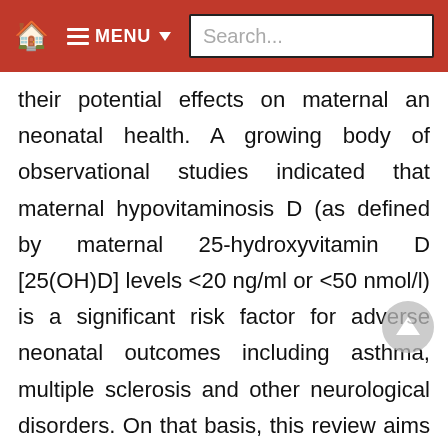MENU Search...
their potential effects on maternal an neonatal health. A growing body of observational studies indicated that maternal hypovitaminosis D (as defined by maternal 25-hydroxyvitamin D [25(OH)D] levels <20 ng/ml or <50 nmol/l) is a significant risk factor for adverse neonatal outcomes including asthma, multiple sclerosis and other neurological disorders. On that basis, this review aims to provide to the reader new insights into the vitamin D requirements and function during pregnancy supported by recent data and will not discuss the classical roles of vitamin D and skeletal function during pregnancy. In addition, we will focus on recent results that demonstrate that maternal vitamin D supplementation could reduce neonatal respiratory and neurological complications, suggesting that available guidelines should be updated, since it remains unclear why these recommendations are not updated according to recent results.